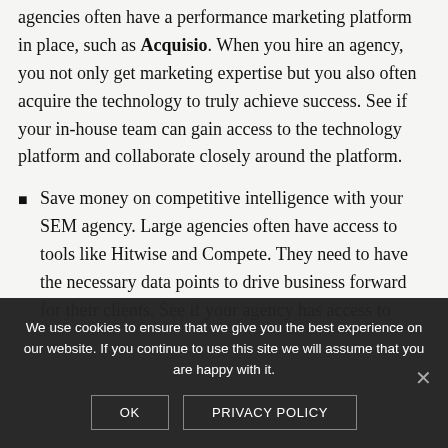agencies often have a performance marketing platform in place, such as Acquisio. When you hire an agency, you not only get marketing expertise but you also often acquire the technology to truly achieve success. See if your in-house team can gain access to the technology platform and collaborate closely around the platform.
Save money on competitive intelligence with your SEM agency. Large agencies often have access to tools like Hitwise and Compete. They need to have the necessary data points to drive business forward for their clients. See if your agency has access to
We use cookies to ensure that we give you the best experience on our website. If you continue to use this site we will assume that you are happy with it.